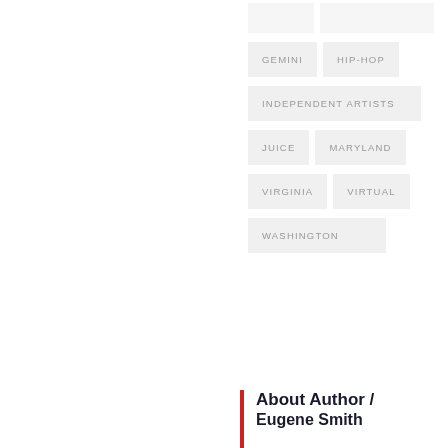GEMINI
HIP-HOP
INDEPENDENT ARTISTS
JUICE
MARYLAND
VIRGINIA
VIRTUAL
WASHINGTON
About Author /
Eugene Smith